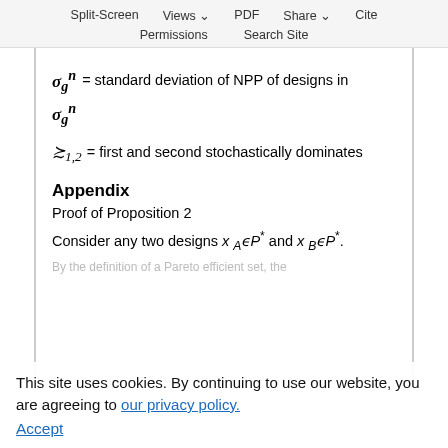Split-Screen  Views  PDF  Share  Cite  Permissions  Search Site
Appendix
Proof of Proposition 2
Consider any two designs x_A ∈ P* and x_B ∈ P*.
This site uses cookies. By continuing to use our website, you are agreeing to our privacy policy. Accept